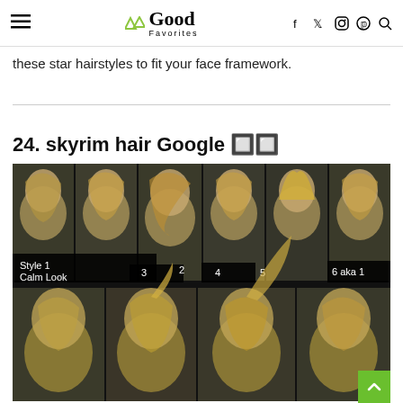Good Favorites (navigation header with logo and social icons)
these star hairstyles to fit your face framework.
24. skyrim hair Google 🔲🔲
[Figure (screenshot): Skyrim video game character hairstyle comparison grid. Top row shows 6 hairstyle variations labeled: Style 1 / Calm Look, 2, 3, 4, 5, 6 aka 1. Bottom row shows 4 more hairstyle variations. Characters are rendered 3D game characters with blonde hair on dark background.]